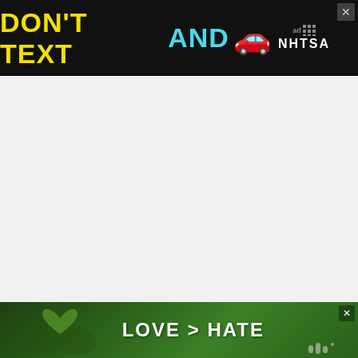[Figure (other): Top advertisement banner: dark background with yellow 'DON'T TEXT' text, cyan 'AND' text, red car emoji, and NHTSA logo with ad indicator and X close button]
[Figure (other): Large blank/white advertisement space below top banner]
TREATMENTS
Another of the major differences between these two conditions is that an overactive thyroid can be treated with medica... surgery, whereas hypothyroidism doesn't have a...
[Figure (other): What's Next popup showing Medicare Part B Guide with thumbnail image and arrow]
[Figure (other): Bottom advertisement banner: LOVE > HATE with heart hands photo background and X close button]